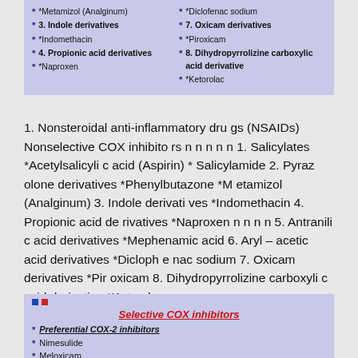*Metamizol (Analginum)
3. Indole derivatives
*Indomethacin
4. Propionic acid derivatives
*Naproxen
*Diclofenac sodium
7. Oxicam derivatives
*Piroxicam
8. Dihydropyrrolizine carboxylic acid derivative
*Ketorolac
1. Nonsteroidal anti-inflammatory drugs (NSAIDs) Nonselective COX inhibitors n n n n n 1. Salicylates *Acetylsalicylic acid (Aspirin) * Salicylamide 2. Pyrazolone derivatives *Phenylbutazone *Metamizol (Analginum) 3. Indole derivatives *Indomethacin 4. Propionic acid derivatives *Naproxen n n n n 5. Antranili acid derivatives *Mephenamic acid 6. Aryl – acetic acid derivatives *Diclofenac sodium 7. Oxicam derivatives *Piroxicam 8. Dihydropyrrolizine carboxylic acid derivative *Ketorolac
Selective COX inhibitors
Preferential COX-2 inhibitors
Nimesulide
Meloxicam